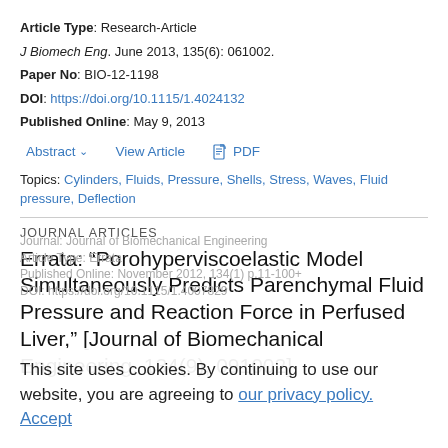Article Type: Research-Article
J Biomech Eng. June 2013, 135(6): 061002.
Paper No: BIO-12-1198
DOI: https://doi.org/10.1115/1.4024132
Published Online: May 9, 2013
Abstract  View Article  PDF
Topics: Cylinders, Fluids, Pressure, Shells, Stress, Waves, Fluid pressure, Deflection
JOURNAL ARTICLES
Errata: “Porohyperviscoelastic Model Simultaneously Predicts Parenchymal Fluid Pressure and Reaction Force in Perfused Liver,” [Journal of Biomechanical Engineering, 134(9), 091002]
This site uses cookies. By continuing to use our website, you are agreeing to our privacy policy.
Accept